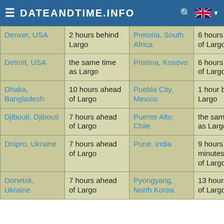DATEANDTIME.INFO
| City | Time difference | City | Time difference |
| --- | --- | --- | --- |
| Denver, USA | 2 hours behind Largo | Pretoria, South Africa | 6 hours ahead of Largo |
| Detroit, USA | the same time as Largo | Pristina, Kosovo | 6 hours ahead of Largo |
| Dhaka, Bangladesh | 10 hours ahead of Largo | Puebla City, Mexico | 1 hour behind Largo |
| Djibouti, Djibouti | 7 hours ahead of Largo | Puente Alto, Chile | the same time as Largo |
| Dnipro, Ukraine | 7 hours ahead of Largo | Pune, India | 9 hours 30 minutes ahead of Largo |
| Donetsk, Ukraine | 7 hours ahead of Largo | Pyongyang, North Korea | 13 hours ahead of Largo |